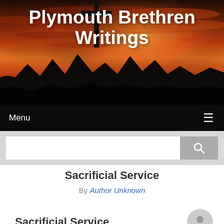[Figure (photo): Website header banner with sunset/sunrise sky background showing orange and red clouds, dark mountain silhouettes at bottom, and a dark cross silhouette in the center]
Plymouth Brethren Writings
Menu ≡
Sacrificial Service
By Author Unknown
Sacrificial Service